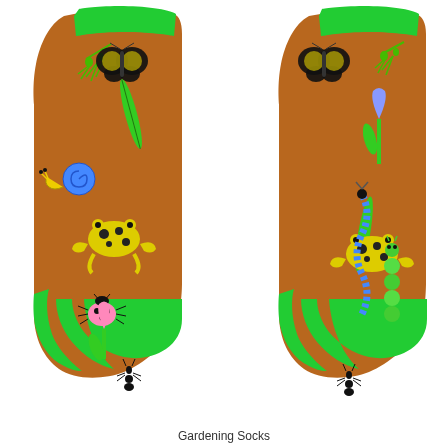[Figure (photo): A pair of brown/rust-colored crew socks with bright green cuffs, heels, and toes, decorated with garden creatures including praying mantis, butterflies, snail, frogs, ladybug, caterpillar, snake, ants, tulips, and leaves.]
Gardening Socks